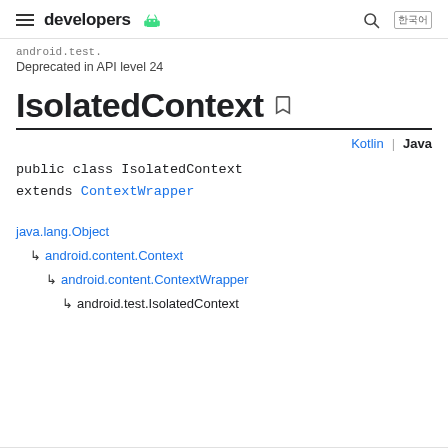developers [android logo]
Deprecated in API level 24
IsolatedContext
Kotlin | Java
public class IsolatedContext
extends ContextWrapper
java.lang.Object
  ↳ android.content.Context
    ↳ android.content.ContextWrapper
      ↳ android.test.IsolatedContext